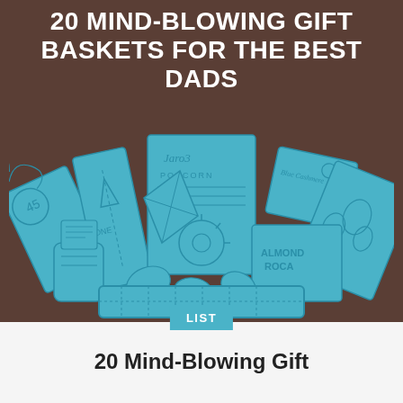20 MIND-BLOWING GIFT BASKETS FOR THE BEST DADS
[Figure (illustration): Line drawing illustration of a gift basket filled with items including a jar of popcorn labeled 'Jaro3 Popcorn', a gift card labeled 'Blue Cashmere', a bag of 'Almond Roca', various wrapped gifts, a potted plant, and other gift items, all drawn in light blue/teal on a brown background.]
LIST
20 Mind-Blowing Gift